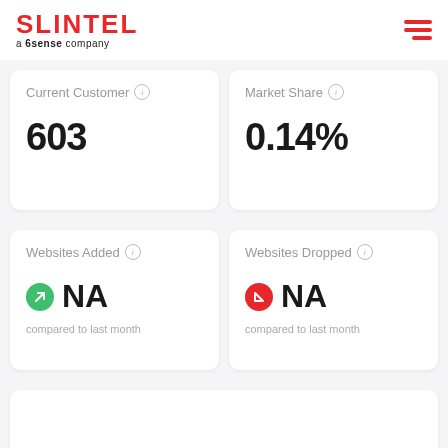SLINTEL a 6sense company
Current Customer
603
Market Share
0.14%
Websites Added
NA compared to last month
Websites Dropped
NA compared to last month